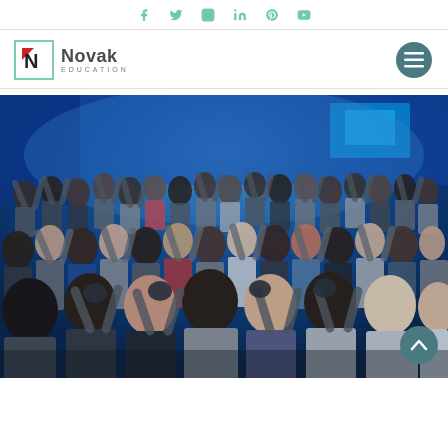Social media icons: Facebook, Twitter, Instagram, LinkedIn, Pinterest, YouTube
[Figure (logo): Novak Education logo: square N icon with teal border and red/black N lettermark, text 'Novak' and 'EDUCATION']
[Figure (photo): Large crowd of diverse people in an auditorium with blue lighting, many raising their hands and celebrating, taken from a low angle looking up at the audience]
[Figure (other): Hamburger menu button (dark teal circle with three horizontal lines)]
[Figure (other): Scroll-to-top button (dark teal circle with upward chevron arrow)]